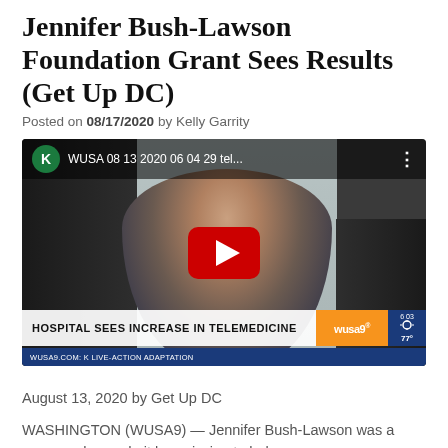Jennifer Bush-Lawson Foundation Grant Sees Results (Get Up DC)
Posted on 08/17/2020 by Kelly Garrity
[Figure (screenshot): YouTube video thumbnail showing a WUSA9 news segment titled 'WUSA 08 13 2020 06 04 29 tel...' with a woman being interviewed. Lower thirds bar reads 'HOSPITAL SEES INCREASE IN TELEMEDICINE'. Bottom bar shows WUSA9 branding and 'WUSA9.COM: K LIVE-ACTION ADAPTATION'.]
August 13, 2020 by Get Up DC
WASHINGTON (WUSA9) — Jennifer Bush-Lawson was a woman who made it her mission to help